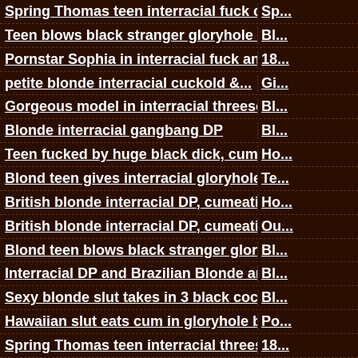| Title (left column) | Title (right column, truncated) |
| --- | --- |
| Spring Thomas teen interracial fuck cum... | Sp... |
| Teen blows black stranger gloryhole eats cum | Bl... |
| Pornstar Sophia in interracial fuck and suck | 18... |
| petite blonde interracial cuckold &... | Gi... |
| Gorgeous model in interracial threesome | Bl... |
| Blonde interracial gangbang DP | Bl... |
| Teen fucked by huge black dick, cum in mouth | Ho... |
| Blond teen gives interracial gloryhole... | Te... |
| British blonde interracial DP, cumeating | Ho... |
| British blonde interracial DP, cumeating | Ou... |
| Blond teen blows black stranger gloryhole... | Bl... |
| Interracial DP and Brazilian Blonde anal | Bl... |
| Sexy blonde slut takes in 3 black cocks... | Bl... |
| Hawaiian slut eats cum in gloryhole blowjob | Po... |
| Spring Thomas teen interracial threesome... | 18... |